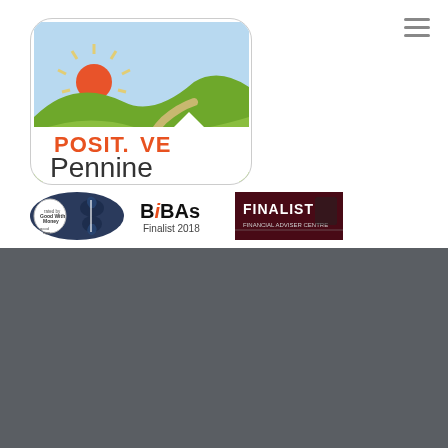[Figure (logo): Positive Pennine logo - rounded rectangle with landscape scene (hills, sun, sky, path) and text 'POSIT.VE Pennine' in orange and dark grey]
[Figure (logo): Good With Money / Good Egg rated badge with butterfly icon]
[Figure (logo): BiBAs Finalist 2018 badge]
[Figure (logo): FINALIST badge with dark red background - Financial Adviser award]
[Figure (logo): Small Positive Pennine footer logo]
Positive Pennine
Level 13,
Broadgate
Positive Pennine is a trading name of Pennine Wealth Solutions LLP which is
Pennine Wealth Solutions
Privacy & Cookies Policy
Terms and Conditions